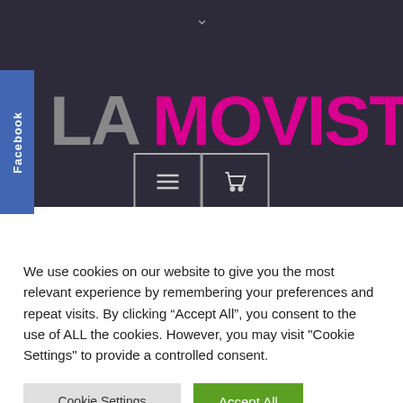[Figure (screenshot): Website header with dark background showing LA MOVISTA logo (LA in gray, MOVISTA in magenta/pink), a Facebook tab on the left side, a chevron at top center, and two icon buttons (hamburger menu and shopping cart) below the logo.]
We use cookies on our website to give you the most relevant experience by remembering your preferences and repeat visits. By clicking “Accept All”, you consent to the use of ALL the cookies. However, you may visit "Cookie Settings" to provide a controlled consent.
Cookie Settings
Accept All